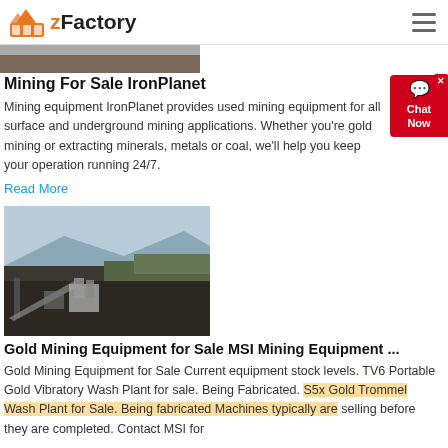zFactory
[Figure (photo): Partial view of a mining site image, cropped at top]
Mining For Sale IronPlanet
Mining equipment IronPlanet provides used mining equipment for all surface and underground mining applications. Whether you're gold mining or extracting minerals, metals or coal, we'll help you keep your operation running 24/7.
Read More
[Figure (photo): Aerial view of a large open-pit gold mining operation with conveyor belts and processing facility, surrounded by dark earth and mountains in the background]
Gold Mining Equipment for Sale MSI Mining Equipment ...
Gold Mining Equipment for Sale Current equipment stock levels. TV6 Portable Gold Vibratory Wash Plant for sale. Being Fabricated. S5x Gold Trommel Wash Plant for Sale. Being fabricated Machines typically are selling before they are completed. Contact MSI for